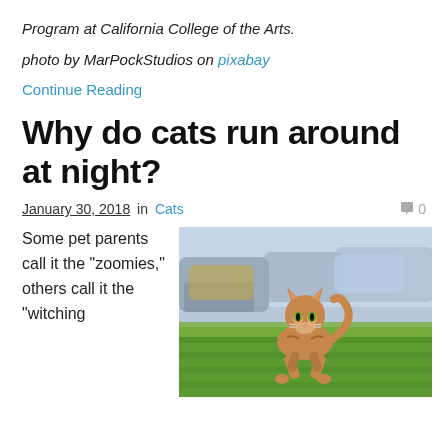Program at California College of the Arts.
photo by MarPockStudios on pixabay
Continue Reading
Why do cats run around at night?
January 30, 2018 in Cats  0
Some pet parents call it the “zoomies,” others call it the “witching
[Figure (photo): A cat mid-leap running across a grassy field, with cars blurred in the background]